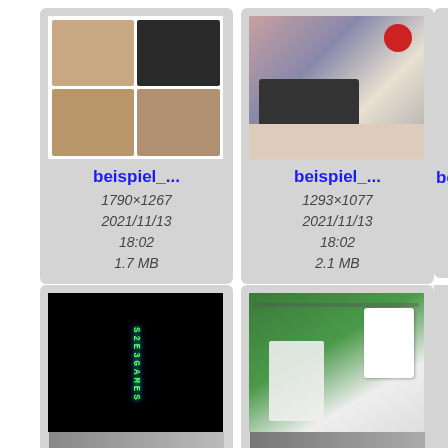[Figure (screenshot): File browser grid view showing image thumbnails with filenames and metadata. Row 1: 'beispiel_...' 1790x1267 2021/11/13 18:02 1.7 MB (collage of box photos); 'beispiel_...' 1293x1077 2021/11/13 18:02 2.1 MB (bedroom photo); partial third card 'be...'. Row 2: 'benallal_...' 1024x768 2022/01/26 07:13 762 KB (dark image with pixel art); 'binta_eis...' 980x1241 2021/01/02 11:13 1.7 MB (Z-letter photo); partial third card 'bla...'. Partial bottom row visible.]